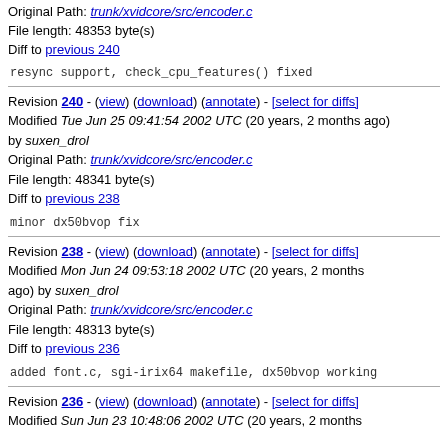Original Path: trunk/xvidcore/src/encoder.c
File length: 48353 byte(s)
Diff to previous 240
resync support, check_cpu_features() fixed
Revision 240 - (view) (download) (annotate) - [select for diffs]
Modified Tue Jun 25 09:41:54 2002 UTC (20 years, 2 months ago) by suxen_drol
Original Path: trunk/xvidcore/src/encoder.c
File length: 48341 byte(s)
Diff to previous 238
minor dx50bvop fix
Revision 238 - (view) (download) (annotate) - [select for diffs]
Modified Mon Jun 24 09:53:18 2002 UTC (20 years, 2 months ago) by suxen_drol
Original Path: trunk/xvidcore/src/encoder.c
File length: 48313 byte(s)
Diff to previous 236
added font.c, sgi-irix64 makefile, dx50bvop working
Revision 236 - (view) (download) (annotate) - [select for diffs]
Modified Sun Jun 23 10:48:06 2002 UTC (20 years, 2 months ago)